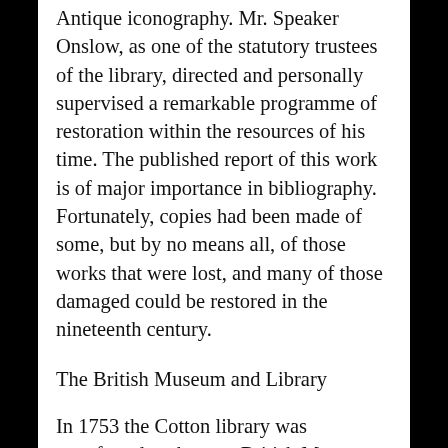Antique iconography. Mr. Speaker Onslow, as one of the statutory trustees of the library, directed and personally supervised a remarkable programme of restoration within the resources of his time. The published report of this work is of major importance in bibliography. Fortunately, copies had been made of some, but by no means all, of those works that were lost, and many of those damaged could be restored in the nineteenth century.
The British Museum and Library
In 1753 the Cotton library was transferred to the new British Museum, under the Act of Parliament which established it. At the same time the Sloane Collection and Harley Collection were acquired and added, so that